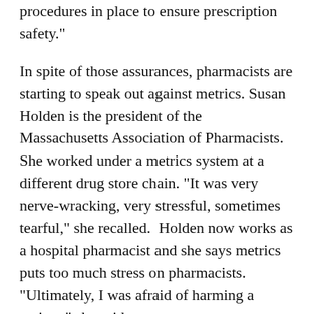procedures in place to ensure prescription safety."
In spite of those assurances, pharmacists are starting to speak out against metrics. Susan Holden is the president of the Massachusetts Association of Pharmacists. She worked under a metrics system at a different drug store chain. "It was very nerve-wracking, very stressful, sometimes tearful," she recalled.  Holden now works as a hospital pharmacist and she says metrics puts too much stress on pharmacists. "Ultimately, I was afraid of harming a patient," she said.
A survey of nearly 700 pharmacists conducted by the institute for safe medication practices found that more than 83 percent believed performance metrics contributed to dispensing errors.